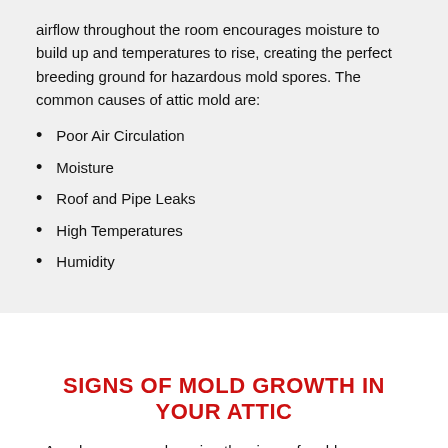airflow throughout the room encourages moisture to build up and temperatures to rise, creating the perfect breeding ground for hazardous mold spores. The common causes of attic mold are:
Poor Air Circulation
Moisture
Roof and Pipe Leaks
High Temperatures
Humidity
SIGNS OF MOLD GROWTH IN YOUR ATTIC
As a homeowner, knowing the signs of mold presence allows you to act quickly before significant damage occurs. If you are unsure whether your attic has signs of mold, our professionals are happy to come and inspect the area. The primary warning